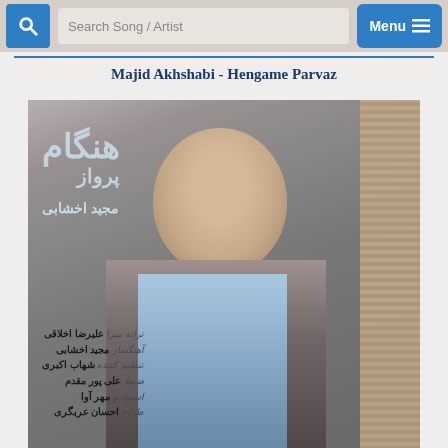Search Song / Artist  Menu
Majid Akhshabi - Hengame Parvaz
[Figure (photo): Album cover for Hengame Parvaz by Majid Akhshabi showing a man smiling and leaning against a rope/wicker pillar, with Persian text overlay listing song credits including lyricist Alireza Akhlagi, composer Majid Akhshabi, arranger Shahab Akbari, conductor Ali Pour Moghadam, studio Mehr Ava, designer Ehsan Arabgari]